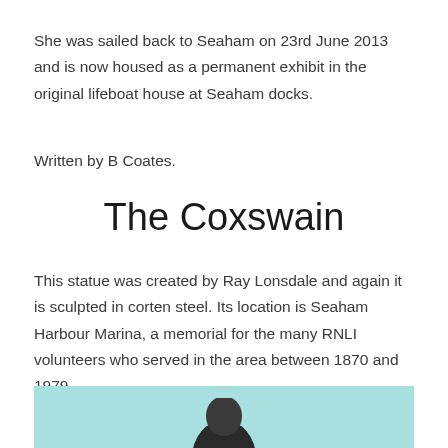She was sailed back to Seaham on 23rd June 2013 and is now housed as a permanent exhibit in the original lifeboat house at Seaham docks.
Written by B Coates.
The Coxswain
This statue was created by Ray Lonsdale and again it is sculpted in corten steel. Its location is Seaham Harbour Marina, a memorial for the many RNLI volunteers who served in the area between 1870 and 1979
[Figure (photo): Bottom portion of a photograph showing a statue against a light blue/teal background, with the top of a dark figure visible at the bottom edge of the page.]